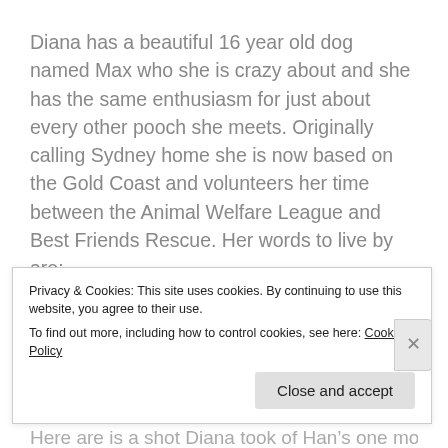Diana has a beautiful 16 year old dog named Max who she is crazy about and she has the same enthusiasm for just about every other pooch she meets. Originally calling Sydney home she is now based on the Gold Coast and volunteers her time between the Animal Welfare League and Best Friends Rescue. Her words to live by are:
“Dare to dream,  believe in your dreams and go make them happen – life is short – Respect yourself, Respect others and Learn to listen”.
Here are is a shot Diana took of Han’s one morning
Privacy & Cookies: This site uses cookies. By continuing to use this website, you agree to their use.
To find out more, including how to control cookies, see here: Cookie Policy